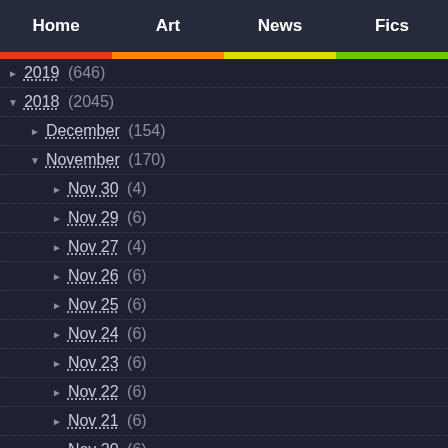Home  Art  News  Fics
► 2019 (646)
▼ 2018 (2045)
► December (154)
▼ November (170)
► Nov 30 (4)
► Nov 29 (6)
► Nov 27 (4)
► Nov 26 (6)
► Nov 25 (6)
► Nov 24 (6)
► Nov 23 (6)
► Nov 22 (6)
► Nov 21 (6)
► Nov 20 (6)
► Nov 19 (6)
► Nov 18 (6)